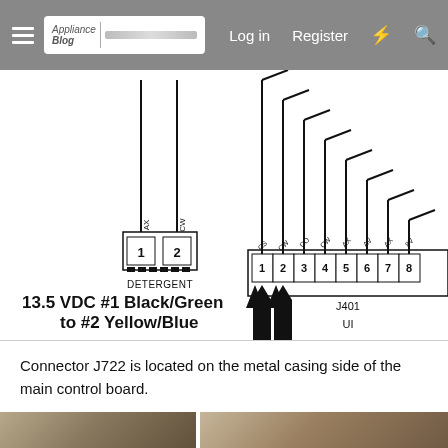Log in  Register
[Figure (schematic): Wiring diagram showing connector J401 with 8 terminals (labeled 1-8 with wire designations CS, CW, CO, CW, AX, AV, AX, 8V), a DETERGENT connector with 2 terminals (AX, CW labeled 1, 2), multiple wires connecting from top, two upward arrows pointing to terminals 1 and 2 of J401, and label 'UI' below J401. Text overlay: '13.5 VDC #1 Black/Green to #2 Yellow/Blue']
Connector J722 is located on the metal casing side of the main control board.
[Figure (photo): Two partial photos at bottom of page, showing hardware components]